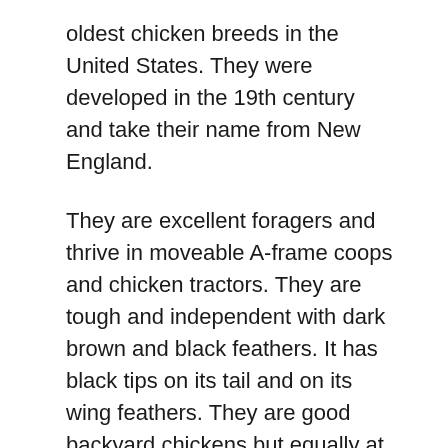oldest chicken breeds in the United States. They were developed in the 19th century and take their name from New England.
They are excellent foragers and thrive in moveable A-frame coops and chicken tractors. They are tough and independent with dark brown and black feathers. It has black tips on its tail and on its wing feathers. They are good backyard chickens but equally at home on homesteads.
They are renowned egg layers and, once upon a time, the standard bird found on smaller poultry farms. Rhode Island Reds are dual-purpose, producing both eggs and meat.
These chickens are docile and calm, but the